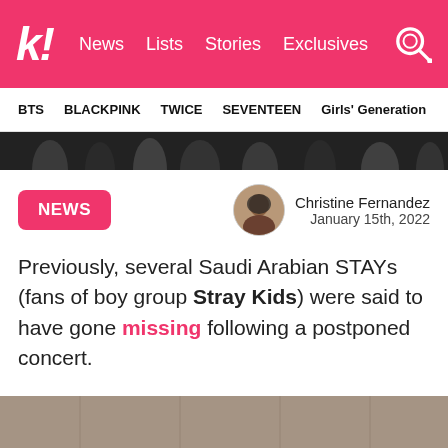k! News Lists Stories Exclusives
BTS  BLACKPINK  TWICE  SEVENTEEN  Girls' Generation
[Figure (photo): Partial photo strip showing dark silhouettes of people]
NEWS
Christine Fernandez
January 15th, 2022
Previously, several Saudi Arabian STAYs (fans of boy group Stray Kids) were said to have gone missing following a postponed concert.
[Figure (photo): Group photo of Stray Kids members posing in dark outfits, one member wearing a red beret]